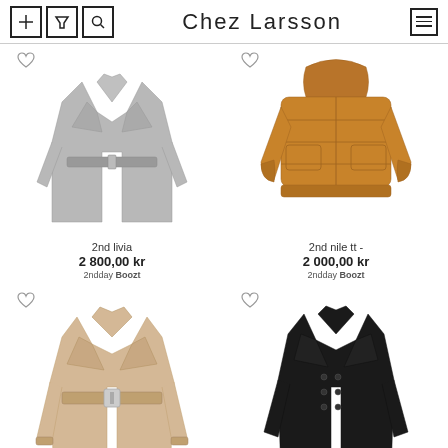Chez Larsson
[Figure (photo): Grey belted wool coat - 2nd livia]
2nd livia
2 800,00 kr
2ndday Boozt
[Figure (photo): Brown puffer jacket with hood - 2nd nile tt]
2nd nile tt -
2 000,00 kr
2ndday Boozt
[Figure (photo): Beige belted trench coat]
[Figure (photo): Black double-breasted long coat]